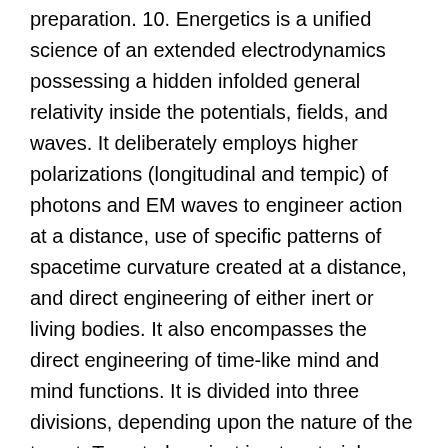preparation. 10. Energetics is a unified science of an extended electrodynamics possessing a hidden infolded general relativity inside the potentials, fields, and waves. It deliberately employs higher polarizations (longitudinal and tempic) of photons and EM waves to engineer action at a distance, use of specific patterns of spacetime curvature created at a distance, and direct engineering of either inert or living bodies. It also encompasses the direct engineering of time-like mind and mind functions. It is divided into three divisions, depending upon the nature of the target. Targeted against inert materials, structures, fields, and waves it is called “energetics. “Against living bodies, their fields, IRIS and corporations. Tom is a guitarist, a retired aikidoist (Sandan, Yoseikan style), is happily married and has two sons and two daughters. He and his wife Doris live in Huntsville, Alabama where Tom is retired from aerospace